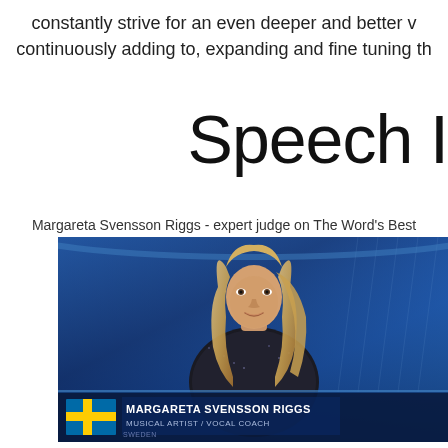constantly strive for an even deeper and better v continuously adding to, expanding and fine tuning the
Speech I
Margareta Svensson Riggs - expert judge on The Word's Best
[Figure (photo): TV broadcast screenshot showing a blonde woman (Margareta Svensson Riggs) seated against a blue background with a lower-third graphic showing a Swedish flag, her name MARGARETA SVENSSON RIGGS, and title MUSICAL ARTIST / VOCAL COACH]